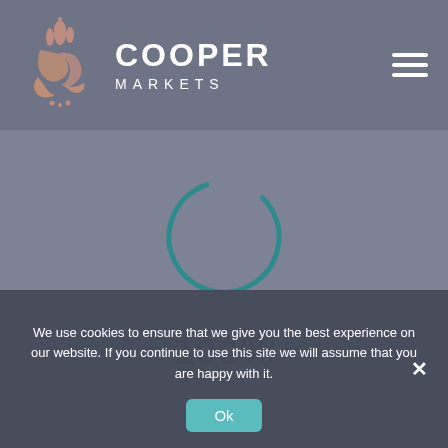[Figure (logo): Cooper Markets logo with Arabic calligraphy icon in salmon/rose color on the left, and 'COOPER MARKETS' text in white on dark background, with hamburger menu icon on the right]
[Figure (other): Teal/dark cyan loading spinner (circle arc) indicating page loading progress]
100%
We use cookies to ensure that we give you the best experience on our website. If you continue to use this site we will assume that you are happy with it.
Ok